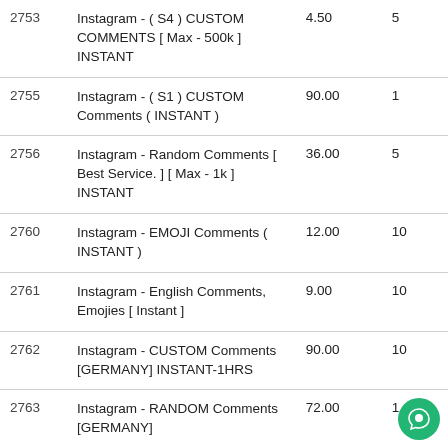| ID | Name | Rate | Min |
| --- | --- | --- | --- |
| 2753 | Instagram - ( S4 ) CUSTOM COMMENTS [ Max - 500k ] INSTANT | 4.50 | 5 |
| 2755 | Instagram - ( S1 ) CUSTOM Comments ( INSTANT ) | 90.00 | 1 |
| 2756 | Instagram - Random Comments [ Best Service. ] [ Max - 1k ] INSTANT | 36.00 | 5 |
| 2760 | Instagram - EMOJI Comments ( INSTANT ) | 12.00 | 10 |
| 2761 | Instagram - English Comments, Emojies [ Instant ] | 9.00 | 10 |
| 2762 | Instagram - CUSTOM Comments [GERMANY] INSTANT-1HRS | 90.00 | 10 |
| 2763 | Instagram - RANDOM Comments [GERMANY] | 72.00 | 1 |